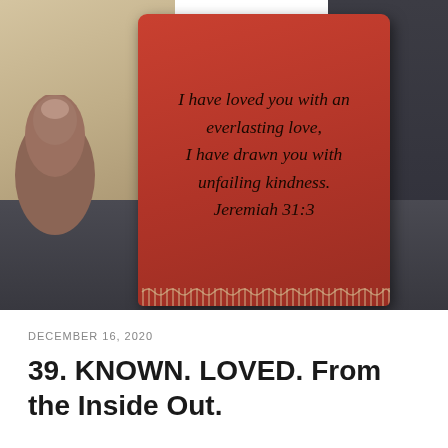[Figure (photo): A hand holding a red leather tag/bookmark with a Bible verse in cursive script reading: 'I have loved you with an everlasting love, I have drawn you with unfailing kindness. Jeremiah 31:3'. The background shows denim fabric and a tan/beige surface.]
DECEMBER 16, 2020
39. KNOWN. LOVED. From the Inside Out.